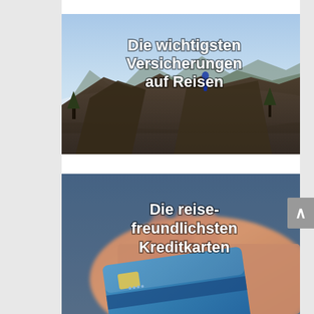[Figure (photo): Mountain landscape with person sitting on a cliff overlooking misty mountains and clouds, with bold white text overlay reading 'Die wichtigsten Versicherungen auf Reisen']
[Figure (photo): Blurred photo of a hand holding a blue credit card, with bold white text overlay reading 'Die reise- freundlichsten Kreditkarten']